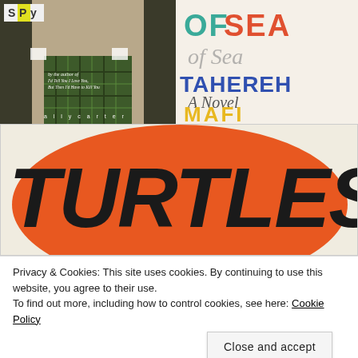[Figure (illustration): Book cover: 'Spy' by Ally Carter, showing a girl in a plaid skirt and trench coat. Text reads 'by the author of I'd Tell You I Love You, But Then I'd Have to Kill You' and 'ally carter' at bottom.]
[Figure (illustration): Book cover partial: '...of Sea' in large teal and orange letters, 'Tahereh' in blue, 'A Novel' in cursive, 'MAFI' in yellow block letters.]
[Figure (illustration): Book cover partial showing 'TURTLES' in large black brushstroke lettering over an orange circle on cream background.]
Privacy & Cookies: This site uses cookies. By continuing to use this website, you agree to their use.
To find out more, including how to control cookies, see here: Cookie Policy
[Figure (illustration): Bottom strip showing partial book cover with striped pattern.]